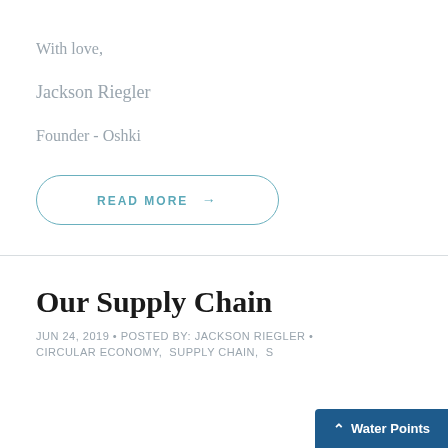With love,
Jackson Riegler
Founder - Oshki
READ MORE →
Our Supply Chain
JUN 24, 2019 • POSTED BY: JACKSON RIEGLER •
CIRCULAR ECONOMY,  SUPPLY CHAIN,  S